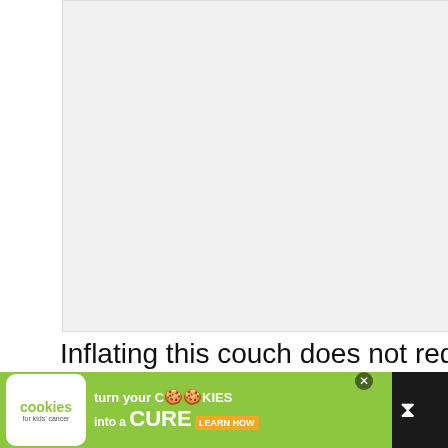[Figure (photo): Large image placeholder area at top of page, light gray background]
Inflating this couch does not require a pump. To catch air, turn the product straight against the wind, or simply lift it a half-dozen times (just don't try turning in circles to get air into it, as that won't work).
[Figure (screenshot): UI overlay elements: heart button (blue circle), share button, count badge '1', 'WHAT'S NEXT → What Are Some...' card with thumbnail]
[Figure (infographic): Advertisement bar at bottom: 'cookies for kids cancer' logo, 'turn your COOKIES into a CURE LEARN HOW' green background ad banner]